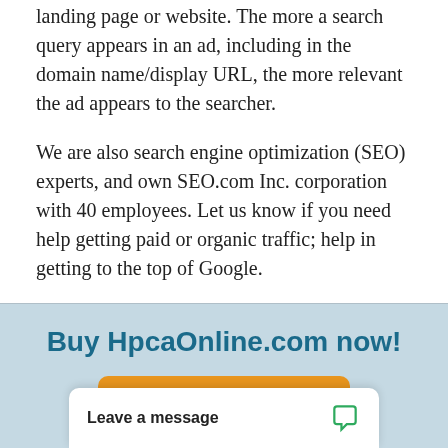landing page or website. The more a search query appears in an ad, including in the domain name/display URL, the more relevant the ad appears to the searcher.
We are also search engine optimization (SEO) experts, and own SEO.com Inc. corporation with 40 employees. Let us know if you need help getting paid or organic traffic; help in getting to the top of Google.
Buy HpcaOnline.com now!
BUY NOW
Leave a message